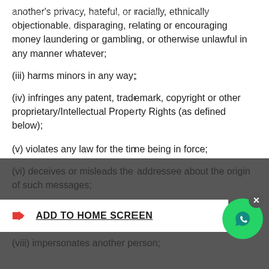another's privacy, hateful, or racially, ethnically objectionable, disparaging, relating or encouraging money laundering or gambling, or otherwise unlawful in any manner whatever;
(iii) harms minors in any way;
(iv) infringes any patent, trademark, copyright or other proprietary/Intellectual Property Rights (as defined below);
(v) violates any law for the time being in force;
(vi) deceives or misleads the addressee about the origin of such messages;
(vii) communicates any information which is grossly offensive or menacing in nature;
(viii) impersonates another person;
(ix) contains software viruses or any other computer code, files or programs designed to interrupt, destroy or limit the functionality of any computer resource;